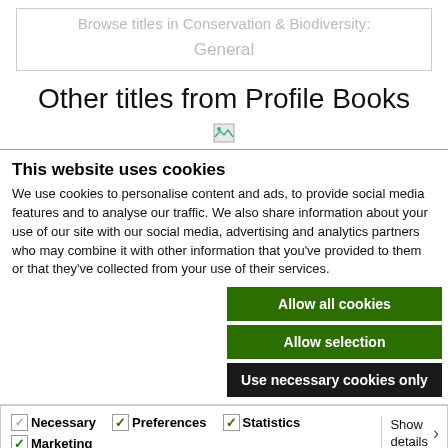Browse titles in Conservation & Biodiversity:
General
Other titles from Profile Books
[Figure (illustration): Broken image placeholder icon]
This website uses cookies
We use cookies to personalise content and ads, to provide social media features and to analyse our traffic. We also share information about your use of our site with our social media, advertising and analytics partners who may combine it with other information that you've provided to them or that they've collected from your use of their services.
Allow all cookies
Allow selection
Use necessary cookies only
Necessary  Preferences  Statistics  Marketing  Show details